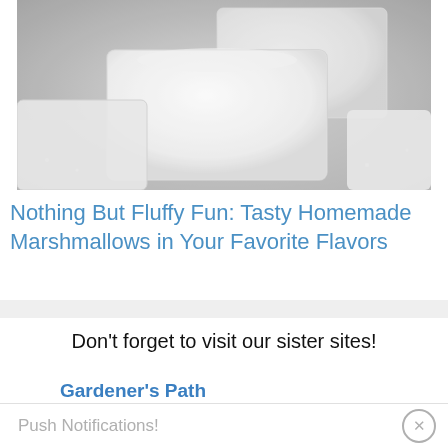[Figure (photo): Powdered sugar-dusted homemade marshmallows cut into squares on a grey surface]
Nothing But Fluffy Fun: Tasty Homemade Marshmallows in Your Favorite Flavors
Don’t forget to visit our sister sites!
Gardener’s Path
Push Notifications!